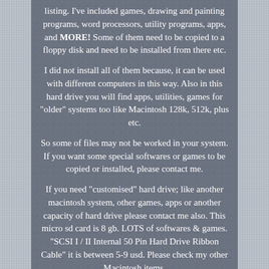listing. I've included games, drawing and painting programs, word processors, utility programs, apps, and MORE! Some of them need to be copied to a floppy disk and need to be installed from there etc.
I did not install all of them because, it can be used with different computers in this way. Also in this hard drive you will find apps, utilities, games for "older" systems too like Macintosh 128k, 512k, plus etc.
So some of files may not be worked in your system. If you want some special softwares or games to be copied or installed, please contact me.
If you need "customised" hard drive; like another macintosh system, other games, apps or another capacity of hard drive please contact me also. This micro sd card is 8 gb. LOTS of softwares & games. "SCSI I / II Internal 50 Pin Hard Drive Ribbon Cable" it is between 5-9 usd. Please check my other Macintosh items.